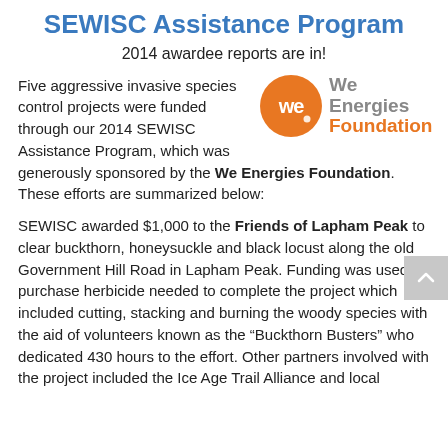SEWISC Assistance Program
2014 awardee reports are in!
Five aggressive invasive species control projects were funded through our 2014 SEWISC Assistance Program, which was generously sponsored by the We Energies Foundation. These efforts are summarized below:
[Figure (logo): We Energies Foundation logo: orange circle with 'we' text, followed by 'We Energies Foundation' in gray and orange text]
SEWISC awarded $1,000 to the Friends of Lapham Peak to clear buckthorn, honeysuckle and black locust along the old Government Hill Road in Lapham Peak. Funding was used to purchase herbicide needed to complete the project which included cutting, stacking and burning the woody species with the aid of volunteers known as the “Buckthorn Busters” who dedicated 430 hours to the effort. Other partners involved with the project included the Ice Age Trail Alliance and local